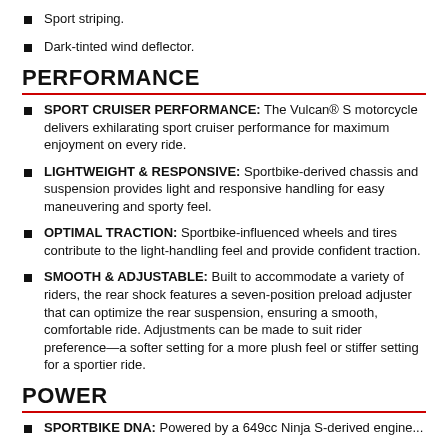Sport striping.
Dark-tinted wind deflector.
PERFORMANCE
SPORT CRUISER PERFORMANCE: The Vulcan® S motorcycle delivers exhilarating sport cruiser performance for maximum enjoyment on every ride.
LIGHTWEIGHT & RESPONSIVE: Sportbike-derived chassis and suspension provides light and responsive handling for easy maneuvering and sporty feel.
OPTIMAL TRACTION: Sportbike-influenced wheels and tires contribute to the light-handling feel and provide confident traction.
SMOOTH & ADJUSTABLE: Built to accommodate a variety of riders, the rear shock features a seven-position preload adjuster that can optimize the rear suspension, ensuring a smooth, comfortable ride. Adjustments can be made to suit rider preference—a softer setting for a more plush feel or stiffer setting for a sportier ride.
POWER
SPORTBIKE DNA: Powered by a 649cc Ninja S-derived engine...